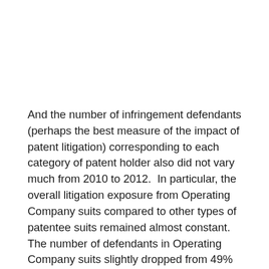And the number of infringement defendants (perhaps the best measure of the impact of patent litigation) corresponding to each category of patent holder also did not vary much from 2010 to 2012.  In particular, the overall litigation exposure from Operating Company suits compared to other types of patentee suits remained almost constant.  The number of defendants in Operating Company suits slightly dropped from 49% (5,708) of the total number of defendants in 2010 to 48% (5,611) in 2012.  And while the number of alleged infringers for other categories changed, the changes were slight.  For example, the number of defendants in PHCs suits rose from 27% (3,179) of all defendants in 2010 to 32% (3,698) in 2012 while the number in Individual/Family